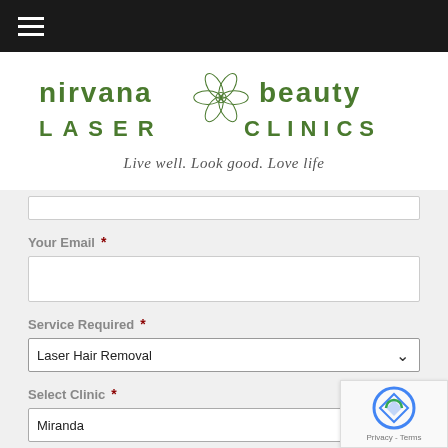[Figure (logo): Nirvana Beauty Laser Clinics logo with flower illustration in green]
Live well. Look good. Love life
Your Email *
Service Required *
Laser Hair Removal
Select Clinic *
Miranda